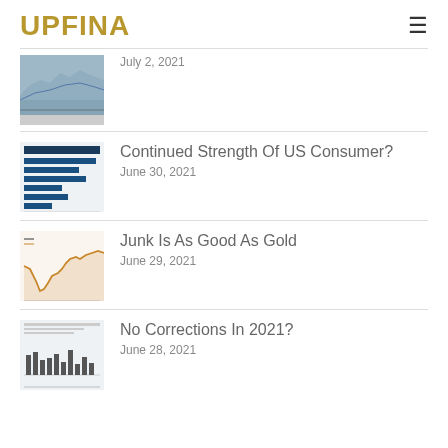UPFINA
July 2, 2021
Continued Strength Of US Consumer?
June 30, 2021
Junk Is As Good As Gold
June 29, 2021
No Corrections In 2021?
June 28, 2021